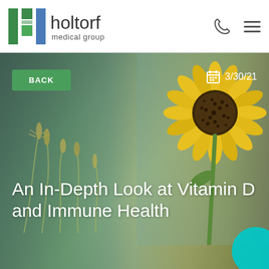[Figure (logo): Holtorf Medical Group logo with green and blue H icon and text]
[Figure (photo): Hero image with blurred bokeh background showing sunflower and wheat/grass plants, with back button, date, and article title overlaid]
An In-Depth Look at Vitamin D and Immune Health